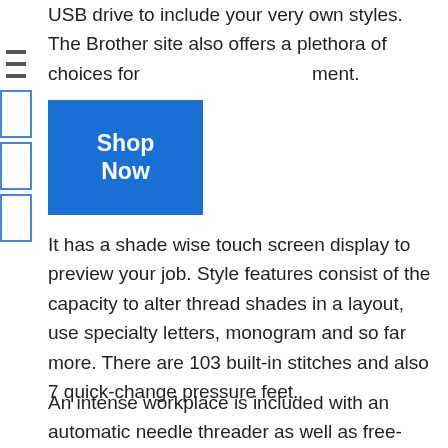consist of 30 built-in designs. Besides having a USB drive to include your very own styles. The Brother site also offers a plethora of choices for embroidery development.
[Figure (other): Blue 'Shop Now' button overlay on top of page content]
It has a shade wise touch screen display to preview your job. Style features consist of the capacity to alter thread shades in a layout, use specialty letters, monogram and so far more. There are 103 built-in stitches and also 7 quick-change pressure feet.
An intense workplace is included with an automatic needle threader as well as free-motion stitching is vital to stitching, crafts, and also fashion. What is neat is the built-in tutorials